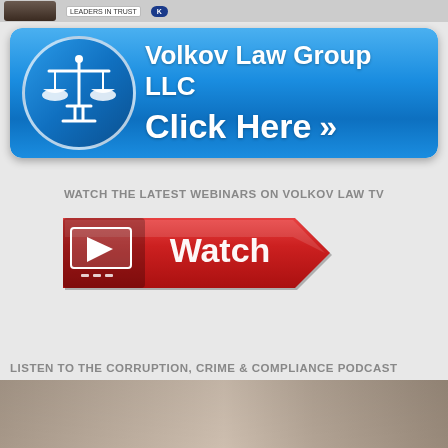[Figure (logo): Top strip with faces and badges including 'LEADERS IN TRUST' badge]
[Figure (logo): Volkov Law Group LLC banner with scales of justice icon, blue gradient background, 'Click Here' with arrows]
WATCH THE LATEST WEBINARS ON VOLKOV LAW TV
[Figure (other): Red arrow-shaped Watch button with video play icon]
LISTEN TO THE CORRUPTION, CRIME & COMPLIANCE PODCAST
[Figure (photo): Bottom strip showing partial podcast image with muted earth tones]